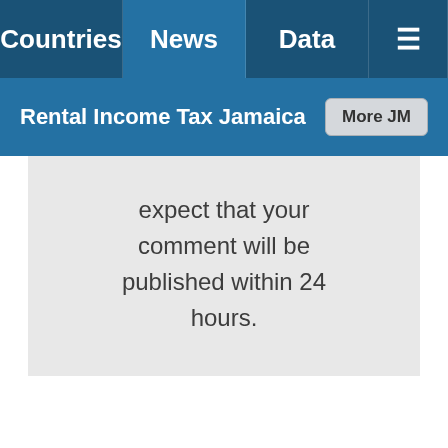Countries | News | Data | ≡
Rental Income Tax Jamaica
expect that your comment will be published within 24 hours.